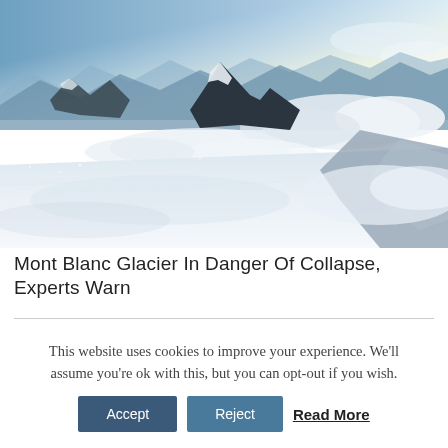[Figure (photo): Aerial or high-altitude photo of Mont Blanc glacier and surrounding snow-covered mountain peaks, with clouds visible below the summit and swirling snow/mist across the foreground snowfield. Blue sky and bright sunlight visible at upper right.]
Mont Blanc Glacier In Danger Of Collapse, Experts Warn
This website uses cookies to improve your experience. We'll assume you're ok with this, but you can opt-out if you wish.
Accept   Reject   Read More